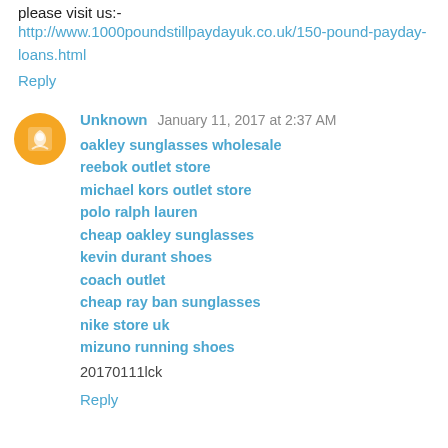please visit us:-
http://www.1000poundstillpaydayuk.co.uk/150-pound-payday-loans.html
Reply
Unknown  January 11, 2017 at 2:37 AM
oakley sunglasses wholesale
reebok outlet store
michael kors outlet store
polo ralph lauren
cheap oakley sunglasses
kevin durant shoes
coach outlet
cheap ray ban sunglasses
nike store uk
mizuno running shoes
20170111lck
Reply